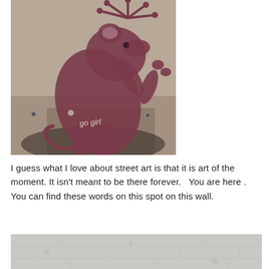[Figure (photo): Street art photo showing a Banksy-style rat stencil in dark reddish-purple on a concrete wall, holding balloons/fireworks. Below the rat is chalked graffiti text reading 'Go girl'.]
I guess what I love about street art is that it is art of the moment. It isn't meant to be there forever.   You are here .  You can find these words on this spot on this wall.
[Figure (photo): Partial photo of a light gray textured brick or concrete wall, cropped at bottom of page.]